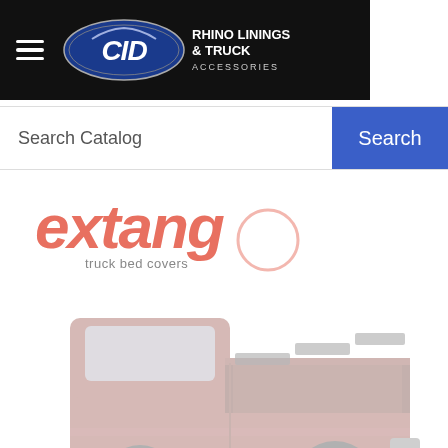CID Rhino Linings & Truck Accessories — navigation header with hamburger menu and logo
Search Catalog
[Figure (logo): Extang truck bed covers logo — salmon/coral colored stylized text 'extang' with tagline 'truck bed covers']
[Figure (photo): Red/maroon pickup truck viewed from the rear quarter, showing the bed area with an open tonneau cover, rendered in a faded/watermark style]